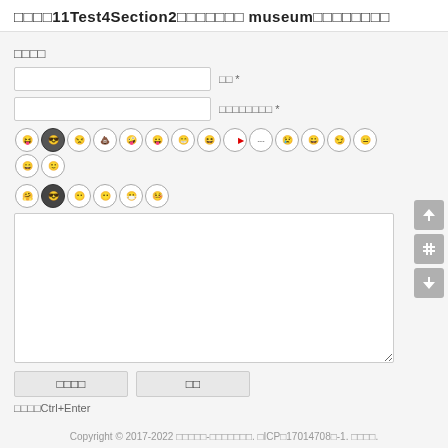□□□□11Test4Section2□□□□□□□ museum□□□□□□□□
□□□□
[Figure (screenshot): Web form with two input fields labeled □□ and □□□□□□□□, a row of emoji face icons, a large textarea, submit and reset buttons, and a shortcut hint text □□□□Ctrl+Enter]
Copyright © 2017-2022 □□□□□-□□□□□□□. □ICP□17014708□-1. □□□□.